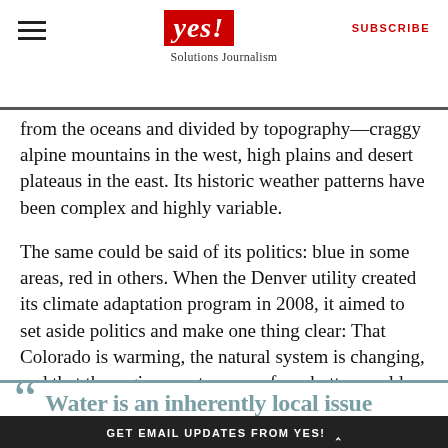yes! Solutions Journalism | SUBSCRIBE
from the oceans and divided by topography—craggy alpine mountains in the west, high plains and desert plateaus in the east. Its historic weather patterns have been complex and highly variable.
The same could be said of its politics: blue in some areas, red in others. When the Denver utility created its climate adaptation program in 2008, it aimed to set aside politics and make one thing clear: That Colorado is warming, the natural system is changing, and that the region must prepare for a hotter world.
“Water is an inherently local issue
GET EMAIL UPDATES FROM YES! ^